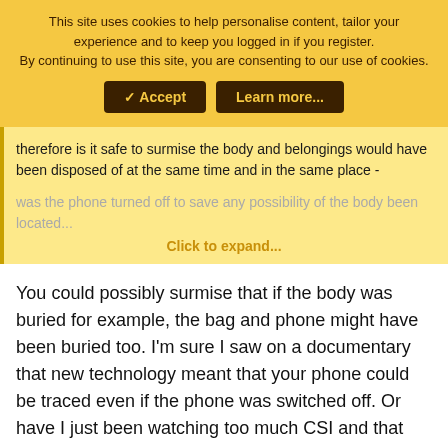This site uses cookies to help personalise content, tailor your experience and to keep you logged in if you register. By continuing to use this site, you are consenting to our use of cookies.
✓ Accept | Learn more...
therefore is it safe to surmise the body and belongings would have been disposed of at the same time and in the same place -
was the phone turned off to save any possibility of the body been located...
Click to expand...
You could possibly surmise that if the body was buried for example, the bag and phone might have been buried too. I'm sure I saw on a documentary that new technology meant that your phone could be traced even if the phone was switched off. Or have I just been watching too much CSI and that idea is a bit